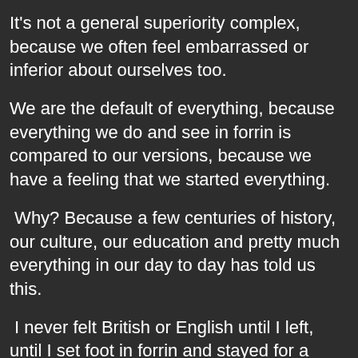It's not a general superiority complex, because we often feel embarrassed or inferior about ourselves too.
We are the default of everything, because everything we do and see in forrin is compared to our versions, because we have a feeling that we started everything.
Why? Because a few centuries of history, our culture, our education and pretty much everything in our day to day has told us this.
I never felt British or English until I left, until I set foot in forrin and stayed for a while. I was being the full English. I looked at everything as